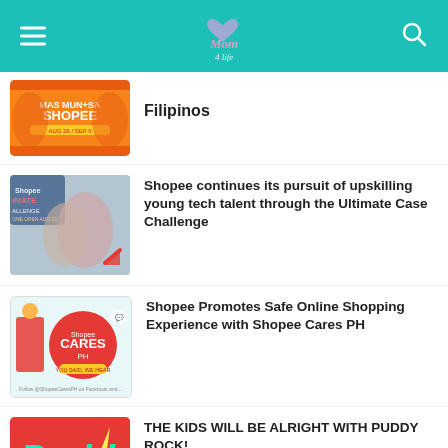Mom For Life blog header with hamburger menu, logo, and search icon
Filipinos
Shopee continues its pursuit of upskilling young tech talent through the Ultimate Case Challenge
Shopee Promotes Safe Online Shopping Experience with Shopee Cares PH
THE KIDS WILL BE ALRIGHT WITH PUDDY ROCK!